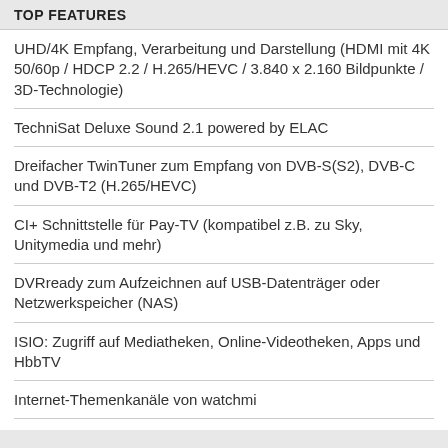TOP FEATURES
UHD/4K Empfang, Verarbeitung und Darstellung (HDMI mit 4K 50/60p / HDCP 2.2 / H.265/HEVC / 3.840 x 2.160 Bildpunkte / 3D-Technologie)
TechniSat Deluxe Sound 2.1 powered by ELAC
Dreifacher TwinTuner zum Empfang von DVB-S(S2), DVB-C und DVB-T2 (H.265/HEVC)
CI+ Schnittstelle für Pay-TV (kompatibel z.B. zu Sky, Unitymedia und mehr)
DVRready zum Aufzeichnen auf USB-Datenträger oder Netzwerkspeicher (NAS)
ISIO: Zugriff auf Mediatheken, Online-Videotheken, Apps und HbbTV
Internet-Themenkanäle von watchmi
UPnP/DLNA-Zugriff über Heimnetzwerk
Steuerung per CONNECT-App (iOS/Android)